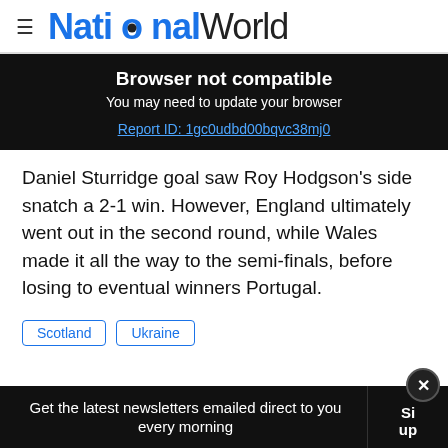≡ NationalWorld
Browser not compatible
You may need to update your browser
Report ID: 1gc0udbd00bqvc38mj0
Daniel Sturridge goal saw Roy Hodgson's side snatch a 2-1 win. However, England ultimately went out in the second round, while Wales made it all the way to the semi-finals, before losing to eventual winners Portugal.
Scotland
Ukraine
Get the latest newsletters emailed direct to you every morning   Sign up